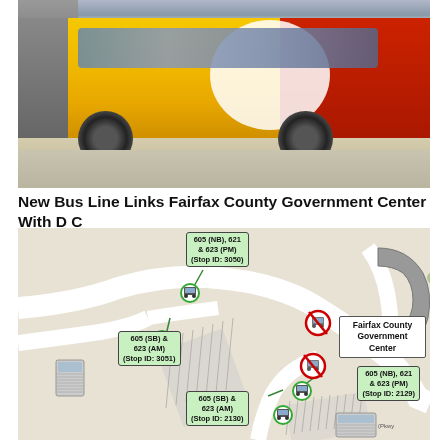[Figure (photo): Photo of a yellow and red bus at a bus stop/transit center. The bus has a large white arc design on the red rear section.]
New Bus Line Links Fairfax County Government Center With D C
[Figure (map): Map of Fairfax County Government Center bus stops showing stop locations with IDs. Stop labels: 605 (NB), 621 & 623 (PM) Stop ID:3050; 605 (SB) & 623 (AM) Stop ID:3051; 605 (NB), 621 & 623 (PM) Stop ID:2129; 605 (SB) & 623 (AM) Stop ID:2130. Fairfax County Government Center building shown. No boarding signs (red circle-slash bus icons) indicated at certain stops.]